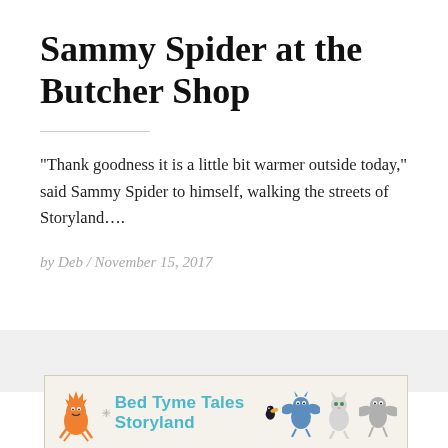Sammy Spider at the Butcher Shop
“Thank goodness it is a little bit warmer outside today,” said Sammy Spider to himself, walking the streets of Storyland….
by Deb / November 15, 2017
[Figure (illustration): Bed Tyme Tales Storyland logo with cartoon characters including an orange spiky character, a blue bat, a grey bat, cartoon animals, and a toucan bird. The text reads 'Bed Tyme Tales Storyland' in blue.]